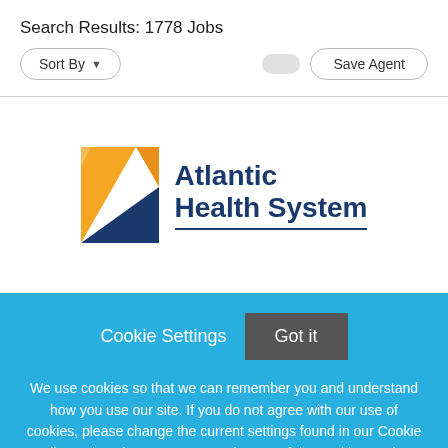Search Results: 1778 Jobs
Sort By ▼
Save Agent
[Figure (logo): Atlantic Health System logo with orange and navy blue geometric shape on left and text 'Atlantic Health System' in navy blue on right]
Cookie Settings
Got it
We use cookies so that we can remember you and understand how you use our site. If you do not agree with our use of cookies, please change the current settings found in our Cookie Policy. Otherwise, you agree to the use of the cookies as they are currently set.